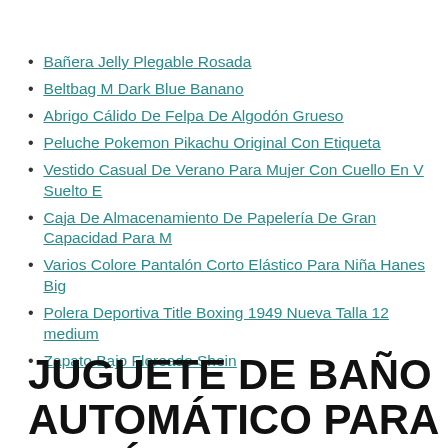Bañera Jelly Plegable Rosada
Beltbag M Dark Blue Banano
Abrigo Cálido De Felpa De Algodón Grueso
Peluche Pokemon Pikachu Original Con Etiqueta
Vestido Casual De Verano Para Mujer Con Cuello En V Suelto E
Caja De Almacenamiento De Papelería De Gran Capacidad Para M
Varios Colore Pantalón Corto Elástico Para Niña Hanes Big
Polera Deportiva Title Boxing 1949 Nueva Talla 12 medium
Zapato Bajo Floreado Shein
JUGUETE DE BAÑO AUTOMÁTICO PARA BEBÉS JUGUETES DE DUCHA